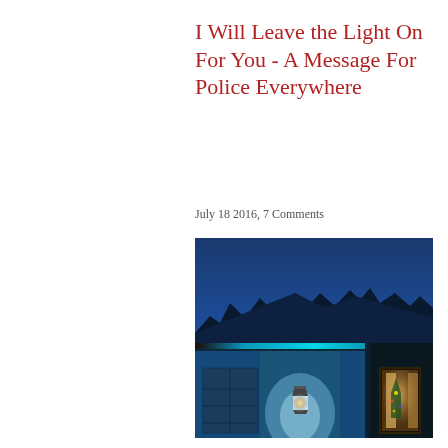I Will Leave the Light On For You - A Message For Police Everywhere
July 18 2016, 7 Comments
[Figure (photo): Nighttime photo of a house exterior with blue LED lighting along the roofline and a wall-mounted lantern glowing brightly. The background shows a dark blue sky and treeline silhouette. A front door with warm interior light is visible on the right.]